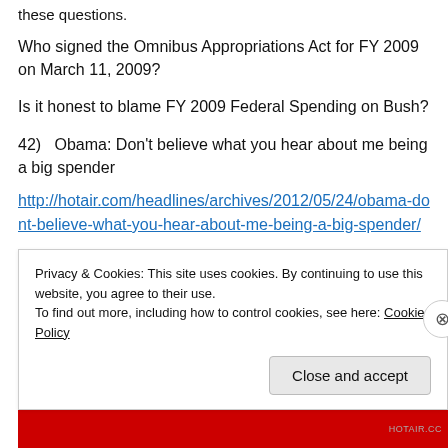these questions.
Who signed the Omnibus Appropriations Act for FY 2009 on March 11, 2009?
Is it honest to blame FY 2009 Federal Spending on Bush?
42)   Obama: Don't believe what you hear about me being a big spender
http://hotair.com/headlines/archives/2012/05/24/obama-dont-believe-what-you-hear-about-me-being-a-big-spender/
Privacy & Cookies: This site uses cookies. By continuing to use this website, you agree to their use. To find out more, including how to control cookies, see here: Cookie Policy
Close and accept